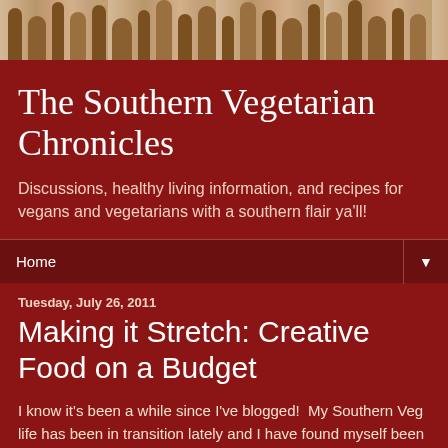[Figure (photo): Photo strip showing vegetable silhouettes against a wood-grain background at the top of the page]
The Southern Vegetarian Chronicles
Discussions, healthy living information, and recipes for vegans and vegetarians with a southern flair ya'll!
Home ▼
Tuesday, July 26, 2011
Making it Stretch: Creative Food on a Budget
I know it's been a while since I've blogged!  My Southern Veg life has been in transition lately and I have found myself been pushed to give and do more for others.  I've been